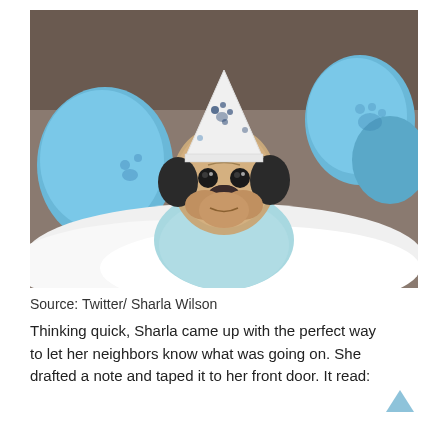[Figure (photo): A pug dog wearing a white party hat with blue paw print designs and a light blue shirt/bandana, lying on a fluffy white surface surrounded by blue balloons with paw print designs.]
Source: Twitter/ Sharla Wilson
Thinking quick, Sharla came up with the perfect way to let her neighbors know what was going on. She drafted a note and taped it to her front door. It read: